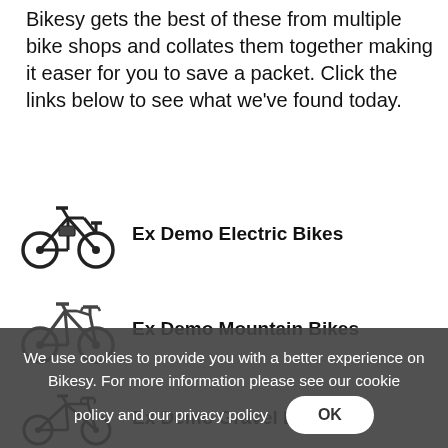Bikesy gets the best of these from multiple bike shops and collates them together making it easer for you to save a packet. Click the links below to see what we've found today.
[Figure (illustration): Icon of an electric bicycle (side view, dark outline)]
Ex Demo Electric Bikes
[Figure (illustration): Icon of a mountain bicycle (side view, dark outline)]
Ex Demo Mountain Bikes
[Figure (illustration): Icon of a road/gravel bicycle (side view, dark outline)]
Ex Demo Gravel Bikes
We use cookies to provide you with a better experience on Bikesy. For more information please see our cookie policy and our privacy policy